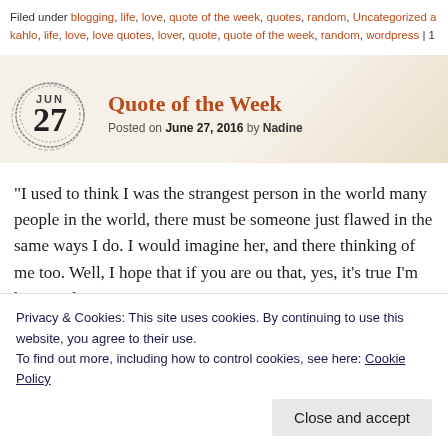Filed under blogging, life, love, quote of the week, quotes, random, Uncategorized a… kahlo, life, love, love quotes, lover, quote, quote of the week, random, wordpress | 1…
Quote of the Week
Posted on June 27, 2016 by Nadine
“I used to think I was the strangest person in the world many people in the world, there must be someone just flawed in the same ways I do. I would imagine her, and there thinking of me too. Well, I hope that if you are ou that, yes, it’s true I’m here, and I’m just as strange as y
Privacy & Cookies: This site uses cookies. By continuing to use this website, you agree to their use.
To find out more, including how to control cookies, see here: Cookie Policy
Close and accept